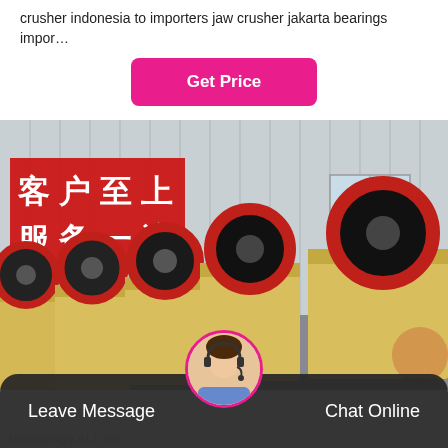crusher indonesia to importers jaw crusher jakarta bearings impor…
[Figure (other): Pink rounded rectangle button with white bold text 'Get Price']
[Figure (photo): Indoor factory/warehouse with rows of yellow jaw crusher machines with black and red flywheels. Red Chinese text signage on the back wall reading 客户至上 / 服务一流.]
Leave Message
Chat Online
Homepage  ALL not